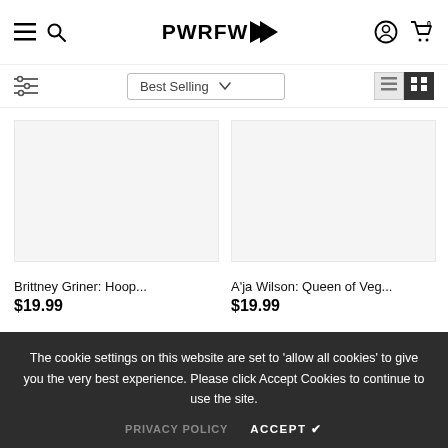PWRFW
Best Selling
[Figure (photo): Product image placeholder for Brittney Griner: Hoop...]
Brittney Griner: Hoop...
$19.99
[Figure (photo): Product image placeholder for A'ja Wilson: Queen of Veg...]
A'ja Wilson: Queen of Veg...
$19.99
The cookie settings on this website are set to 'allow all cookies' to give you the very best experience. Please click Accept Cookies to continue to use the site.
PRIVACY POLICY   ACCEPT ✓